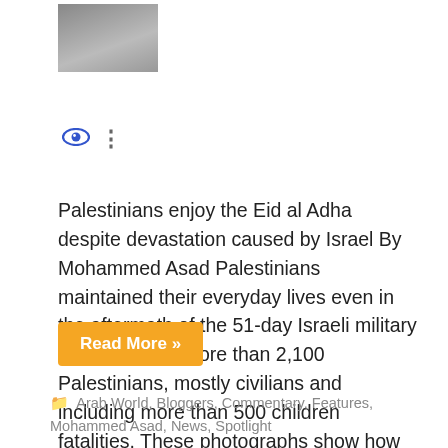[Figure (photo): Small thumbnail photo showing a person near a wall or outdoor scene]
Palestinians enjoy the Eid al Adha despite devastation caused by Israel By Mohammed Asad Palestinians maintained their everyday lives even in the aftermath of the 51-day Israeli military war that killed more than 2,100 Palestinians, mostly civilians and including more than 500 children fatalities. These photographs show how Palestinians are determined to continue their lives and traditions...
Read More »
Arab World, Bloggers, Commentary, Features, Mohammed Asad, News, Spotlight